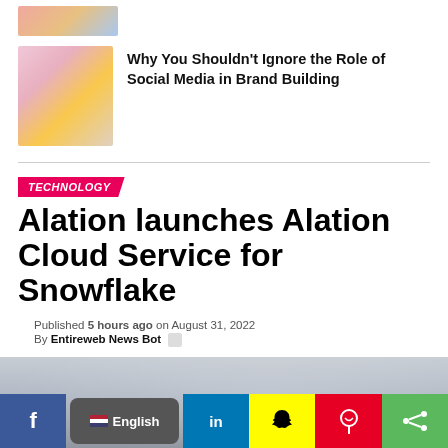[Figure (photo): Partial top image strip thumbnail]
[Figure (photo): Woman browsing clothing rack in a store, article thumbnail]
Why You Shouldn't Ignore the Role of Social Media in Brand Building
TECHNOLOGY
Alation launches Alation Cloud Service for Snowflake
Published 5 hours ago on August 31, 2022
By Entireweb News Bot
[Figure (photo): Hero/banner image with silver-grey gradient background]
[Figure (infographic): Social media sharing bar with Facebook, English language selector, LinkedIn, Snapchat, Pinterest, and share buttons]